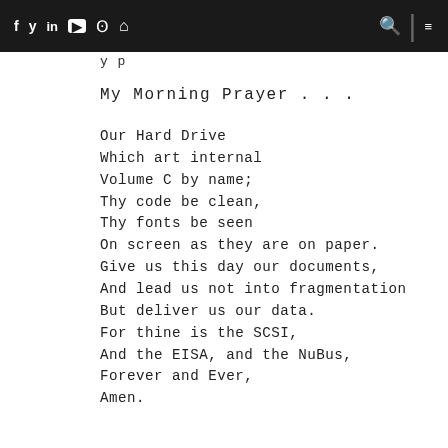f  y  in  ▶  ◎  ⌂  [search] [menu]
y p
My Morning Prayer . . .
Our Hard Drive
Which art internal
Volume C by name;
Thy code be clean,
Thy fonts be seen
On screen as they are on paper.
Give us this day our documents,
And lead us not into fragmentation
But deliver us our data.
For thine is the SCSI,
And the EISA, and the NuBus,
Forever and Ever,
Amen.